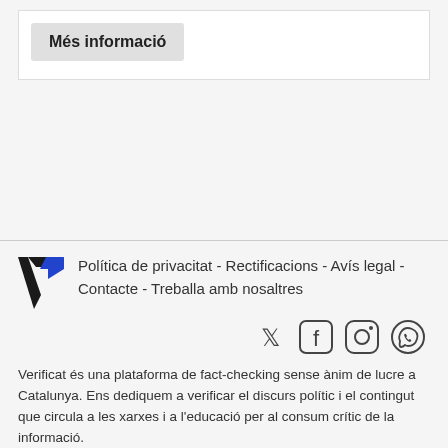Més informació
[Figure (logo): Verificat logo - stylized V in blue and black]
Política de privacitat - Rectificacions - Avís legal - Contacte - Treballa amb nosaltres
[Figure (other): Social media icons: Twitter, Facebook, Instagram, WhatsApp]
Verificat és una plataforma de fact-checking sense ànim de lucre a Catalunya. Ens dediquem a verificar el discurs polític i el contingut que circula a les xarxes i a l'educació per al consum crític de la informació.